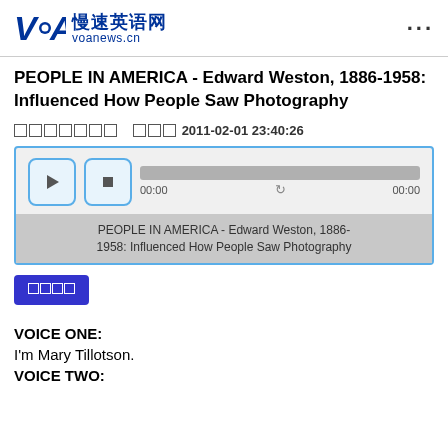VOA 慢速英语网 voanews.cn
PEOPLE IN AMERICA - Edward Weston, 1886-1958: Influenced How People Saw Photography
□□□□□□□  □□□2011-02-01 23:40:26
[Figure (screenshot): Audio player widget with play and stop buttons, a gray progress bar showing 00:00 timestamps, and a title bar reading: PEOPLE IN AMERICA - Edward Weston, 1886-1958: Influenced How People Saw Photography]
□□□□
VOICE ONE:
I'm Mary Tillotson.
VOICE TWO: